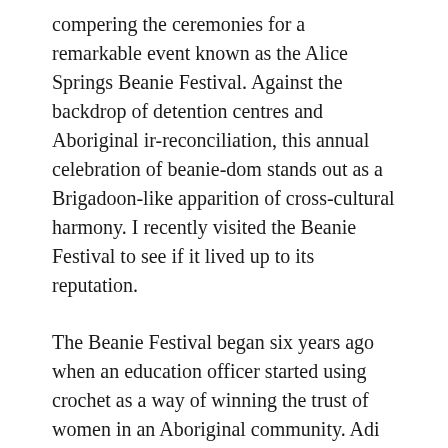compering the ceremonies for a remarkable event known as the Alice Springs Beanie Festival. Against the backdrop of detention centres and Aboriginal ir-reconciliation, this annual celebration of beanie-dom stands out as a Brigadoon-like apparition of cross-cultural harmony. I recently visited the Beanie Festival to see if it lived up to its reputation.
The Beanie Festival began six years ago when an education officer started using crochet as a way of winning the trust of women in an Aboriginal community. Adi Dunlop found that the supply of beanies was outstripping demand and she displayed them at the Araluen Arts Centre in Alice Springs. They sold out instantly, encouraging her to initiate a regular event. Word began to spread around the fibre world and beanies were soon flooding in from all over Australia.